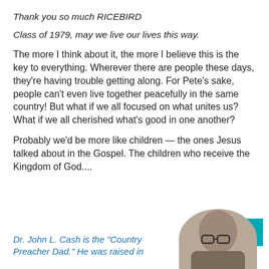Thank you so much RICEBIRD
Class of 1979, may we live our lives this way.
The more I think about it, the more I believe this is the key to everything. Wherever there are people these days, they’re having trouble getting along. For Pete’s sake, people can’t even live together peacefully in the same country! But what if we all focused on what unites us? What if we all cherished what’s good in one another?
Probably we’d be more like children — the ones Jesus talked about in the Gospel. The children who receive the Kingdom of God....
Dr. John L. Cash is the “Country Preacher Dad.” He was raised in
[Figure (photo): Partial photo of a person, cropped at bottom of page]